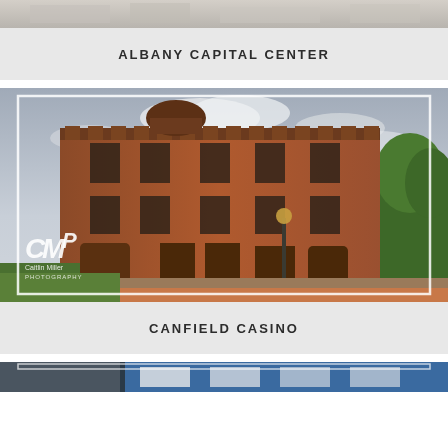[Figure (photo): Partial view of top of Albany Capital Center building photo, cropped at top of page]
ALBANY CAPITAL CENTER
[Figure (photo): Canfield Casino historic red brick Victorian building exterior with white photographer watermark 'CMP Caitlin Miller Photography' in lower left corner]
CANFIELD CASINO
[Figure (photo): Partial view of another venue photo cropped at bottom of page, appears to show a blue and white interior]